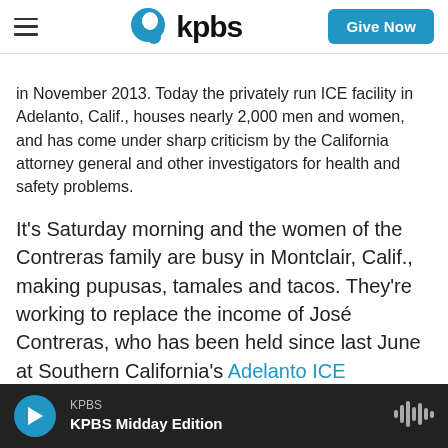KPBS
in November 2013. Today the privately run ICE facility in Adelanto, Calif., houses nearly 2,000 men and women, and has come under sharp criticism by the California attorney general and other investigators for health and safety problems.
It's Saturday morning and the women of the Contreras family are busy in Montclair, Calif., making pupusas, tamales and tacos. They're working to replace the income of José Contreras, who has been held since last June at Southern California's Adelanto ICE Processing Center, a privately run immigration detention center.
José's daughter, Giselle, drives around in an aging
KPBS — KPBS Midday Edition